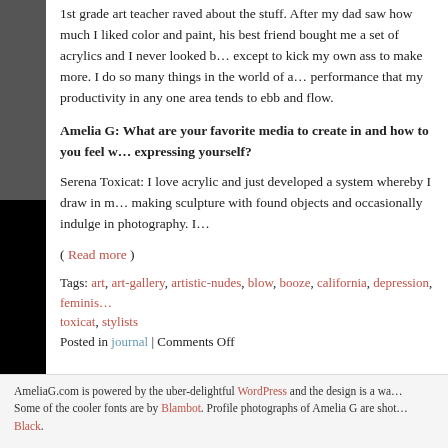1st grade art teacher raved about the stuff. After my dad saw how much I liked color and paint, his best friend bought me a set of acrylics and I never looked back except to kick my own ass to make more. I do so many things in the world of art and performance that my productivity in any one area tends to ebb and flow.
Amelia G: What are your favorite media to create in and how to you feel when expressing yourself?
Serena Toxicat: I love acrylic and just developed a system whereby I draw in m... making sculpture with found objects and occasionally indulge in photography. I...
( Read more )
Tags: art, art-gallery, artistic-nudes, blow, booze, california, depression, feminis... toxicat, stylists
Posted in journal | Comments Off
AmeliaG.com is powered by the uber-delightful WordPress and the design is a wa... Some of the cooler fonts are by Blambot. Profile photographs of Amelia G are shot... Black.